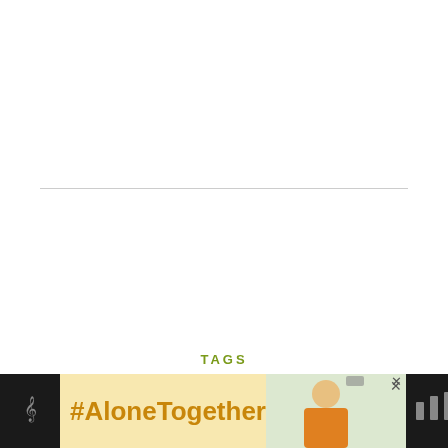TAGS
carbs under 5 dessert veggies chocolate vegan dairy-free berry main course appetizer accompaniment sna fruit breakfast drink sauce almond flour bacon egg-free fat bon salad chicken frosting pumpkin ice cream spread dip holiday cheese bread candy soup cookie savory treat icing halloween coconut flour cake peanut butter muffin jam pie pudding mousse almond butter fish
[Figure (other): Advertisement banner: #AloneTogether with woman cooking image]
[Figure (other): Green circular heart/save button]
[Figure (other): Share button circle with share icon]